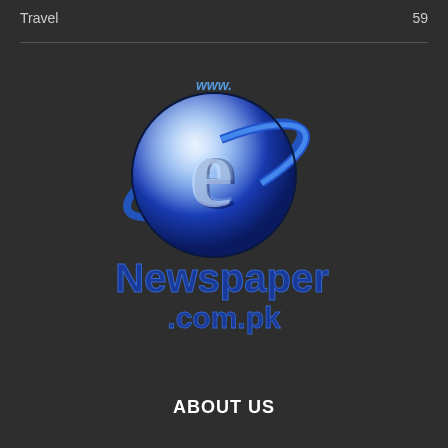Travel  59
[Figure (logo): Newspaper.com.pk logo featuring a blue Internet Explorer-style globe icon with 'www.' text above and 'Newspaper' in large blue bold text below, followed by '.com.pk']
ABOUT US